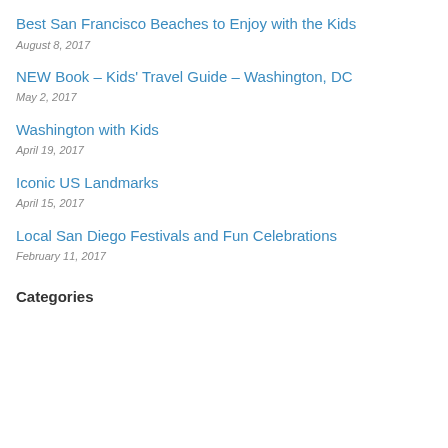Best San Francisco Beaches to Enjoy with the Kids
August 8, 2017
NEW Book – Kids' Travel Guide – Washington, DC
May 2, 2017
Washington with Kids
April 19, 2017
Iconic US Landmarks
April 15, 2017
Local San Diego Festivals and Fun Celebrations
February 11, 2017
Categories